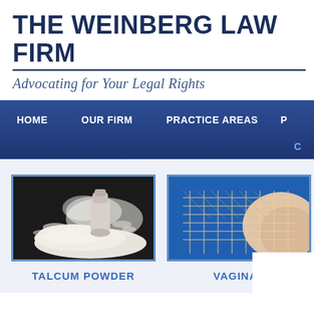THE WEINBERG LAW FIRM
Advocating for Your Legal Rights
HOME   OUR FIRM   PRACTICE AREAS   P   C
[Figure (photo): Photo of talcum powder spilling from a container]
TALCUM POWDER
[Figure (photo): Photo of vaginal mesh medical device]
VAGINAL